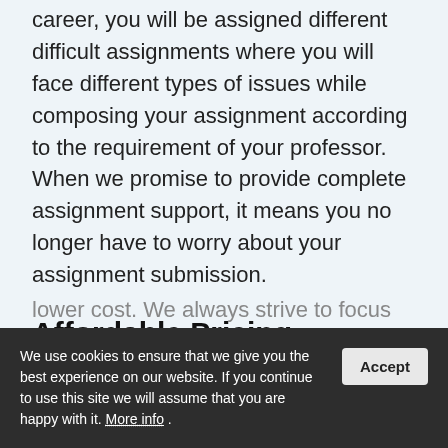career, you will be assigned different difficult assignments where you will face different types of issues while composing your assignment according to the requirement of your professor. When we promise to provide complete assignment support, it means you no longer have to worry about your assignment submission.
Affordable Pricing
Our nursing assignment writing services are intended to help you succeed academically at a lower cost. We always strive to focus on student to stay ahead we offer an affordable pricing plan
We use cookies to ensure that we give you the best experience on our website. If you continue to use this site we will assume that you are happy with it. More info .